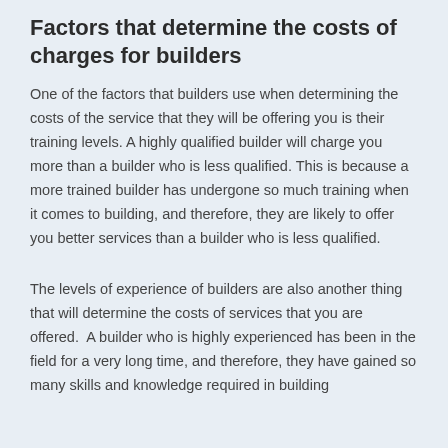Factors that determine the costs of charges for builders
One of the factors that builders use when determining the costs of the service that they will be offering you is their training levels. A highly qualified builder will charge you more than a builder who is less qualified. This is because a more trained builder has undergone so much training when it comes to building, and therefore, they are likely to offer you better services than a builder who is less qualified.
The levels of experience of builders are also another thing that will determine the costs of services that you are offered. A builder who is highly experienced has been in the field for a very long time, and therefore, they have gained so many skills and knowledge required in building